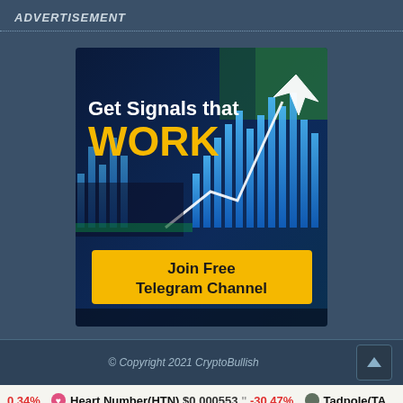ADVERTISEMENT
[Figure (illustration): Advertisement image showing a stock chart with candlestick bars and upward-pointing arrow, with text 'Get Signals that WORK' in white and yellow, and a yellow button labeled 'Join Free Telegram Channel']
© Copyright 2021 CryptoBullish
0.34%   Heart Number(HTN)  $0.000553  " -30.47%   Tadpole(TA